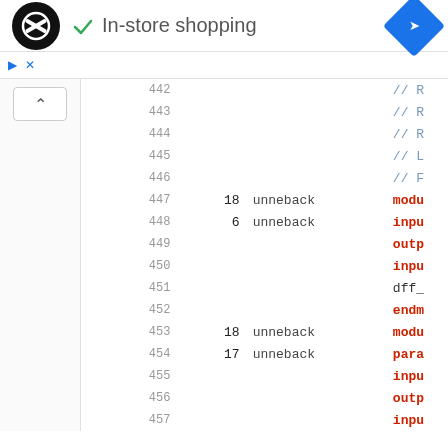[Figure (screenshot): IDE or code review tool UI showing a header bar with a circular logo, checkmark and 'In-store shopping' label, a blue navigation diamond icon, a toolbar with play/close buttons, a left sidebar with an up-arrow collapse button, and a code listing panel showing line numbers 442-458 with columns for line number, a numeric value, the word 'unneback', and code tokens (comments in blue, keywords in red).]
In-store shopping
| Line | Num | Word | Code |
| --- | --- | --- | --- |
| 442 |  |  | // R... |
| 443 |  |  | // R... |
| 444 |  |  | // R... |
| 445 |  |  | // L... |
| 446 |  |  | // F... |
| 447 | 18 | unneback | modu... |
| 448 | 6 | unneback | inpu... |
| 449 |  |  | outp... |
| 450 |  |  | inpu... |
| 451 |  |  | dff_... |
| 452 |  |  | endm... |
| 453 | 18 | unneback | modu... |
| 454 | 17 | unneback | para... |
| 455 |  |  | inpu... |
| 456 |  |  | outp... |
| 457 |  |  | inpu... |
| 458 |  |  | reg... |